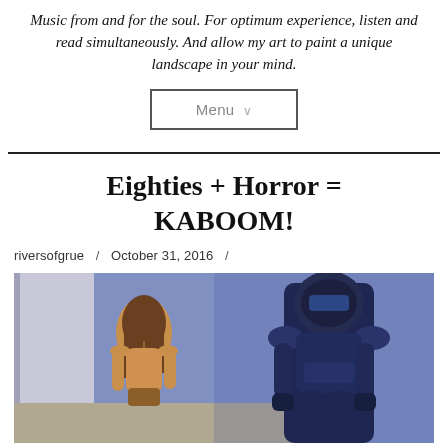Music from and for the soul. For optimum experience, listen and read simultaneously. And allow my art to paint a unique landscape in your mind.
Menu ∨
Eighties + Horror = KABOOM!
riversofgrue / October 31, 2016 /
[Figure (illustration): A painted illustration showing a woman with long hair from behind on the left, and an armored dark figure on the right, in a horror/sci-fi style.]